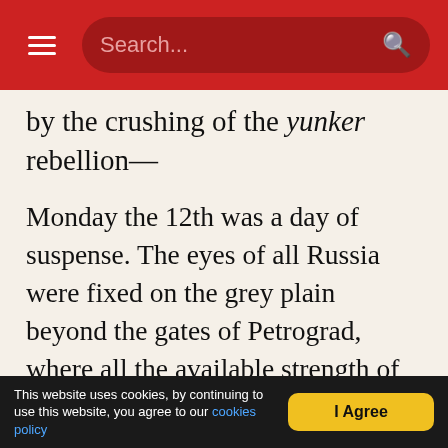Search...
by the crushing of the yunker rebellion—
Monday the 12th was a day of suspense. The eyes of all Russia were fixed on the grey plain beyond the gates of Petrograd, where all the available strength of the old order faced the unorganised power of the new, the unknown. In Moscow a truce had been declared; both sides parleyed, awaiting the result in the capital. Now the delegates to the Congress of Soviets, hurrying on speeding trains to the farthest reaches of Asia, were coming to their homes, carrying the fiery cross. In wide-spreading ripples news of the miracle spread over the face of
This website uses cookies, by continuing to use this website, you agree to our cookies policy  I Agree